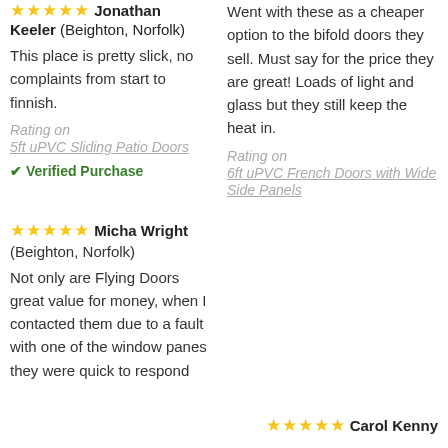★★★★★ Jonathan Keeler (Beighton, Norfolk)
This place is pretty slick, no complaints from start to finnish.
Rating on
5ft uPVC Sliding Patio Doors
✔ Verified Purchase
Went with these as a cheaper option to the bifold doors they sell. Must say for the price they are great! Loads of light and glass but they still keep the heat in.
Rating on
6ft uPVC French Doors with Wide Side Panels
★★★★★ Micha Wright (Beighton, Norfolk)
Not only are Flying Doors great value for money, when I contacted them due to a fault with one of the window panes they were quick to respond
★★★★★ Carol Kenny